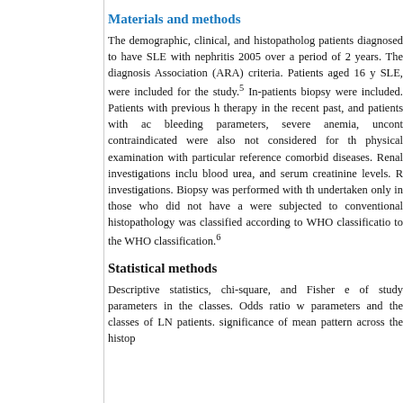Materials and methods
The demographic, clinical, and histopathological data of patients diagnosed to have SLE with nephritis were collected 2005 over a period of 2 years. The diagnosis was made on Association (ARA) criteria. Patients aged 16 y SLE, were included for the study.5 In-patients biopsy were included. Patients with previous history therapy in the recent past, and patients with ac bleeding parameters, severe anemia, uncontrolled contraindicated were also not considered for the physical examination with particular reference to comorbid diseases. Renal investigations included blood urea, and serum creatinine levels. R investigations. Biopsy was performed with the undertaken only in those who did not have any were subjected to conventional histopathology was classified according to WHO classification to the WHO classification.6
Statistical methods
Descriptive statistics, chi-square, and Fisher e of study parameters in the classes. Odds ratio w parameters and the classes of LN patients. significance of mean pattern across the histopathological classes were assessed.